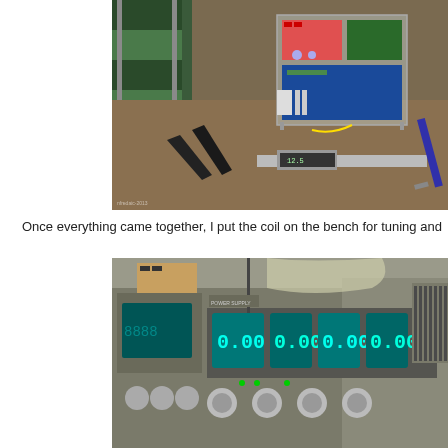[Figure (photo): Electronics workbench with a clear acrylic enclosure containing circuit boards, pliers, a digital caliper, and a screwdriver on a wooden workbench surface.]
Once everything came together, I put the coil on the bench for tuning and...
[Figure (photo): Laboratory bench setup with power supplies or signal generators showing green LCD displays reading 0.00 values, with various electronic equipment and components.]